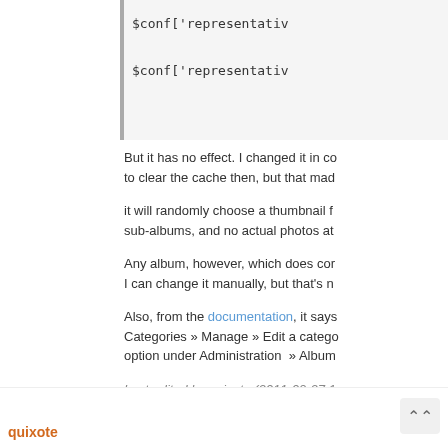$conf['representativ
$conf['representativ
But it has no effect. I changed it in co to clear the cache then, but that mad
it will randomly choose a thumbnail f sub-albums, and no actual photos at
Any album, however, which does cor I can change it manually, but that's n
Also, from the documentation, it says Categories » Manage » Edit a catego option under Administration  » Album
Last edited by quixote (2011-09-27 1
quixote